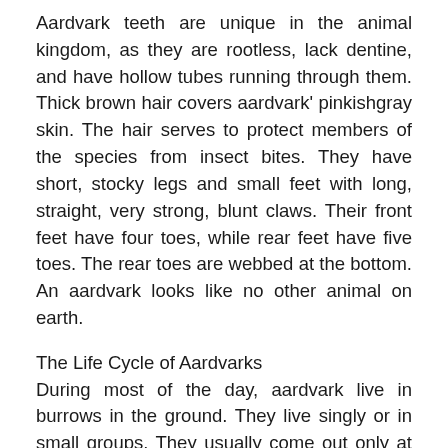Aardvark teeth are unique in the animal kingdom, as they are rootless, lack dentine, and have hollow tubes running through them. Thick brown hair covers aardvark' pinkishgray skin. The hair serves to protect members of the species from insect bites. They have short, stocky legs and small feet with long, straight, very strong, blunt claws. Their front feet have four toes, while rear feet have five toes. The rear toes are webbed at the bottom. An aardvark looks like no other animal on earth.
The Life Cycle of Aardvarks
During most of the day, aardvark live in burrows in the ground. They live singly or in small groups. They usually come out only at night, when they begin searching for termites and ants, which are the major part of their diets. They can rip open ant and termite nests and quickly lap up the insects with their sticky tongues. Aardvarks have tremendous ability to dig burrows in the ground very quickly.